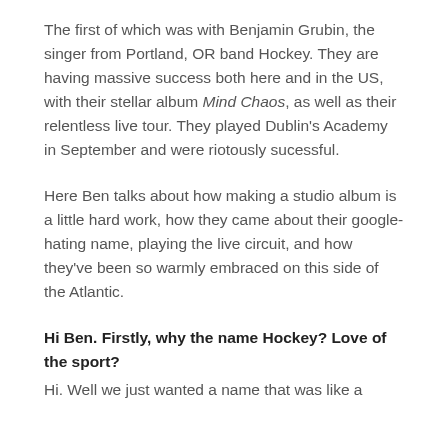The first of which was with Benjamin Grubin, the singer from Portland, OR band Hockey. They are having massive success both here and in the US, with their stellar album Mind Chaos, as well as their relentless live tour. They played Dublin's Academy in September and were riotously sucessful.
Here Ben talks about how making a studio album is a little hard work, how they came about their google-hating name, playing the live circuit, and how they've been so warmly embraced on this side of the Atlantic.
Hi Ben. Firstly, why the name Hockey? Love of the sport?
Hi. Well we just wanted a name that was like a